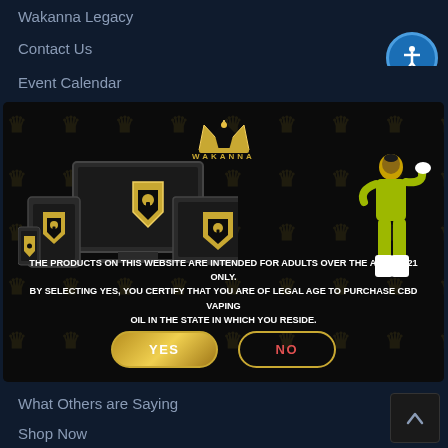Wakanna Legacy
Contact Us
Event Calendar
[Figure (screenshot): Age verification modal popup for Wakanna CBD website. Shows a dark background with repeating crown/logo watermarks, the Wakanna golden crown logo at top, images of devices (phone, tablet, laptop, monitor) with gold padlock shield icons, a cartoon woman in yellow outfit on right, white bold text warning about adult-only products, and YES/NO buttons with gold borders.]
What Others are Saying
Shop Now